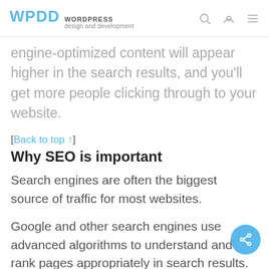WPDD WORDPRESS design and development
engine-optimized content will appear higher in the search results, and you'll get more people clicking through to your website.
[Back to top ↑]
Why SEO is important
Search engines are often the biggest source of traffic for most websites.
Google and other search engines use advanced algorithms to understand and rank pages appropriately in search results. However, those algorithms aren't perfect — they still need your